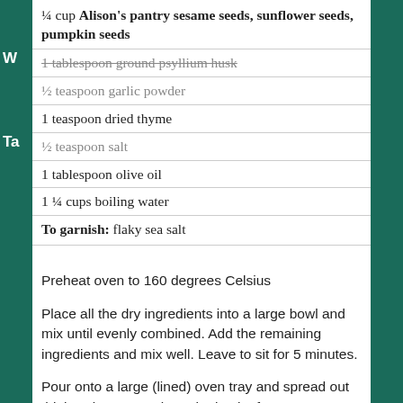¼ cup Alison's pantry sesame seeds, sunflower seeds, pumpkin seeds
1 tablespoon ground psyllium husk
½ teaspoon garlic powder
1 teaspoon dried thyme
½ teaspoon salt
1 tablespoon olive oil
1 ¼ cups boiling water
To garnish: flaky sea salt
Preheat oven to 160 degrees Celsius
Place all the dry ingredients into a large bowl and mix until evenly combined. Add the remaining ingredients and mix well. Leave to sit for 5 minutes.
Pour onto a large (lined) oven tray and spread out thinly using a spatula or the back of a spoon. Keeping the spoon or spatula damp makes this